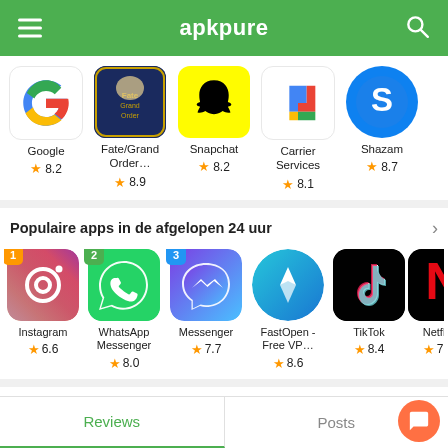apkpure
[Figure (screenshot): App icons row: Google, Fate/Grand Order, Snapchat, Carrier Services, Shazam with ratings]
Populaire apps in de afgelopen 24 uur
[Figure (screenshot): App icons row: Instagram (#1), WhatsApp Messenger (#2), Messenger (#3), FastOpen - Free VP..., TikTok, Netflix with ratings]
Reviews | Posts